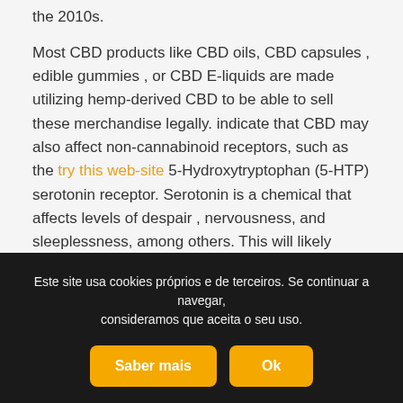the 2010s.
Most CBD products like CBD oils, CBD capsules , edible gummies , or CBD E-liquids are made utilizing hemp-derived CBD to be able to sell these merchandise legally. indicate that CBD may also affect non-cannabinoid receptors, such as the try this web-site 5-Hydroxytryptophan (5-HTP) serotonin receptor. Serotonin is a chemical that affects levels of despair , nervousness, and sleeplessness, among others. This will likely assist clarify why CBD eases anxiousness and ache in some people.
News On Swift Methods Of Cbd Maine
Este site usa cookies próprios e de terceiros. Se continuar a navegar, consideramos que aceita o seu uso.
Saber mais   Ok